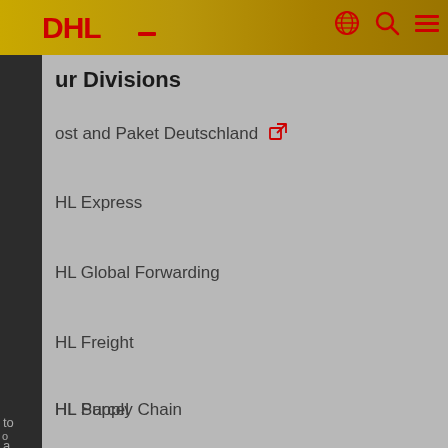DHL
Our Divisions
Post and Paket Deutschland
DHL Express
DHL Global Forwarding
DHL Freight
DHL Supply Chain
DHL Parcel
Industry Sectors
Auto-Mobility